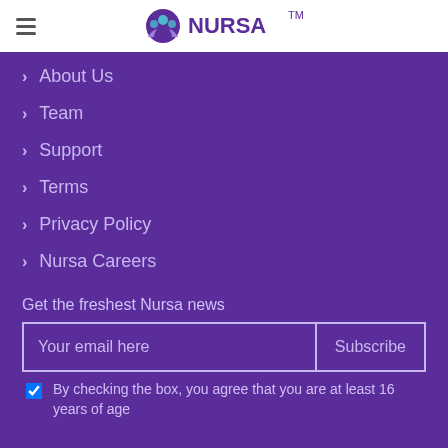NURSA™
About Us
Team
Support
Terms
Privacy Policy
Nursa Careers
Get the freshest Nursa news
Your email here
Subscribe
By checking the box, you agree that you are at least 16 years of age